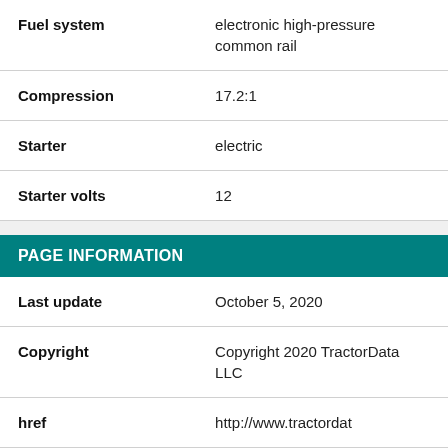| Attribute | Value |
| --- | --- |
| Fuel system | electronic high-pressure common rail |
| Compression | 17.2:1 |
| Starter | electric |
| Starter volts | 12 |
PAGE INFORMATION
| Attribute | Value |
| --- | --- |
| Last update | October 5, 2020 |
| Copyright | Copyright 2020 TractorData LLC |
| href | http://www.tractordat |